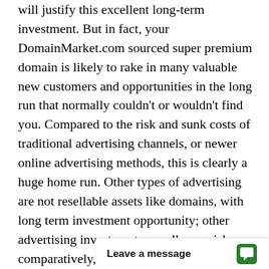will justify this excellent long-term investment. But in fact, your DomainMarket.com sourced super premium domain is likely to rake in many valuable new customers and opportunities in the long run that normally couldn't or wouldn't find you. Compared to the risk and sunk costs of traditional advertising channels, or newer online advertising methods, this is clearly a huge home run. Other types of advertising are not resellable assets like domains, with long term investment opportunity; other advertising investments are all very risky comparatively, and are mostly wasted if you think about it.
First come, first served. Don't miss this once in a lifetime opportunity to be #1. The first person or company to secure ConverseApp.com from this site can control it forever, will become out of ou
[Figure (other): Chat widget overlay with 'Leave a message' label and speech bubble icon in green]